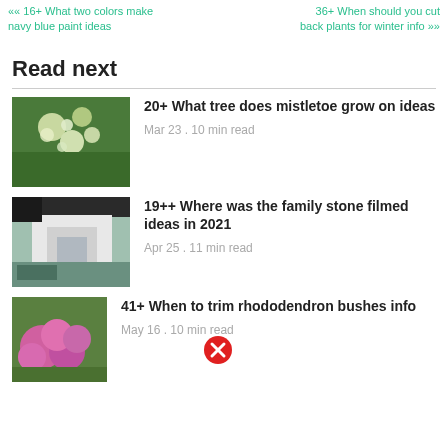«« 16+ What two colors make navy blue paint ideas    36+ When should you cut back plants for winter info »»
Read next
[Figure (photo): Thumbnail photo of mistletoe growing on a tree with green branches and white berries]
20+ What tree does mistletoe grow on ideas
Mar 23 . 10 min read
[Figure (photo): Thumbnail photo of a white house with a porch and green lawn]
19++ Where was the family stone filmed ideas in 2021
Apr 25 . 11 min read
[Figure (photo): Thumbnail photo of pink rhododendron bushes in bloom]
41+ When to trim rhododendron bushes info
May 16 . 10 min read